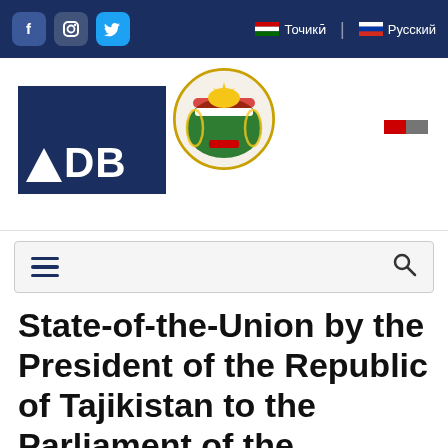Social media links: Facebook, Instagram, Twitter | Language: Точикӣ | Русский
[Figure (logo): ADB (Asian Development Bank) logo — white text on dark navy blue background]
[Figure (logo): Coat of arms / emblem of the Republic of Tajikistan — circular emblem with crown and wreath]
[Figure (logo): Small Tajikistan flag icon (top right corner of header)]
[Figure (infographic): Navigation bar with hamburger menu icon on left and search (magnifying glass) icon on right]
State-of-the-Union by the President of the Republic of Tajikistan to the Parliament of the Republic of Tajikistan